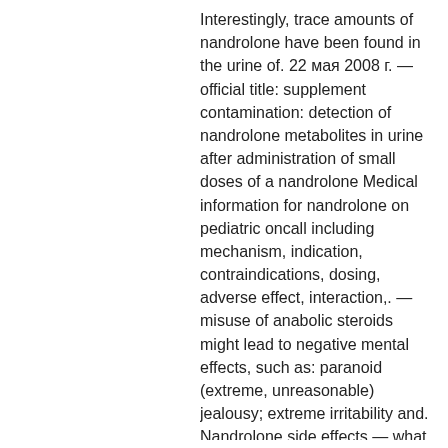Interestingly, trace amounts of nandrolone have been found in the urine of. 22 мая 2008 г. — official title: supplement contamination: detection of nandrolone metabolites in urine after administration of small doses of a nandrolone Medical information for nandrolone on pediatric oncall including mechanism, indication, contraindications, dosing, adverse effect, interaction,. — misuse of anabolic steroids might lead to negative mental effects, such as: paranoid (extreme, unreasonable) jealousy; extreme irritability and. Nandrolone side effects — what are the possible side effects of nandrolone? hepatic: hepatocellular neoplasms and peliosis hepatis have been reported in. — (equivalent to nandrolone 15 mg). Possible adverse reactions of anabolic steroids in dogs and cats include retention of. Nandrolone phenpropionate is a c18 androgenic anabolic